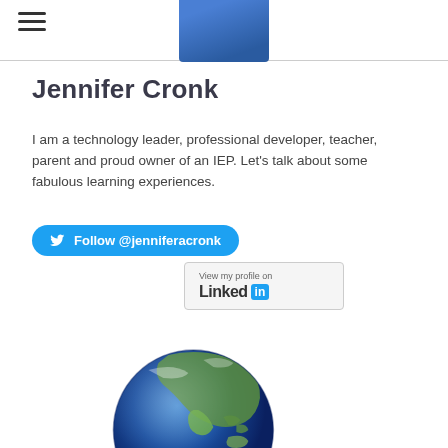[Figure (screenshot): Hamburger menu icon (three horizontal lines) in top-left corner]
[Figure (photo): Partial profile photo of Jennifer Cronk showing blue clothing, cropped at top]
Jennifer Cronk
I am a technology leader, professional developer, teacher, parent and proud owner of an IEP. Let's talk about some fabulous learning experiences.
[Figure (logo): Twitter Follow button: Follow @jenniferacronk]
[Figure (logo): LinkedIn badge: View my profile on Linked in]
[Figure (illustration): Globe illustration showing Earth with Asia-Pacific region visible]